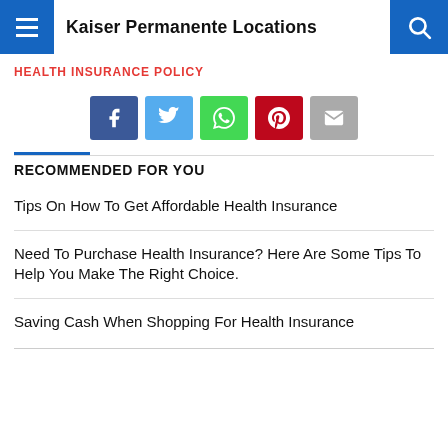Kaiser Permanente Locations
HEALTH INSURANCE POLICY
[Figure (infographic): Social sharing buttons: Facebook (blue), Twitter (light blue), WhatsApp (green), Pinterest (red), Email (gray)]
RECOMMENDED FOR YOU
Tips On How To Get Affordable Health Insurance
Need To Purchase Health Insurance? Here Are Some Tips To Help You Make The Right Choice.
Saving Cash When Shopping For Health Insurance